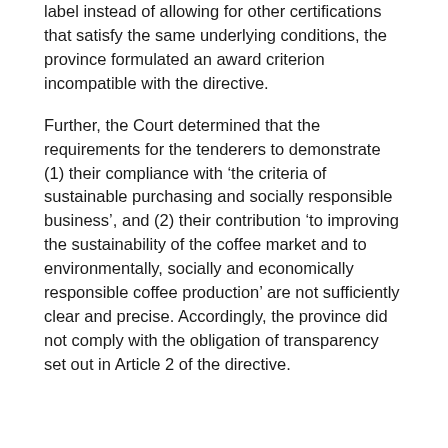label instead of allowing for other certifications that satisfy the same underlying conditions, the province formulated an award criterion incompatible with the directive.
Further, the Court determined that the requirements for the tenderers to demonstrate (1) their compliance with ‘the criteria of sustainable purchasing and socially responsible business’, and (2) their contribution ‘to improving the sustainability of the coffee market and to environmentally, socially and economically responsible coffee production’ are not sufficiently clear and precise. Accordingly, the province did not comply with the obligation of transparency set out in Article 2 of the directive.